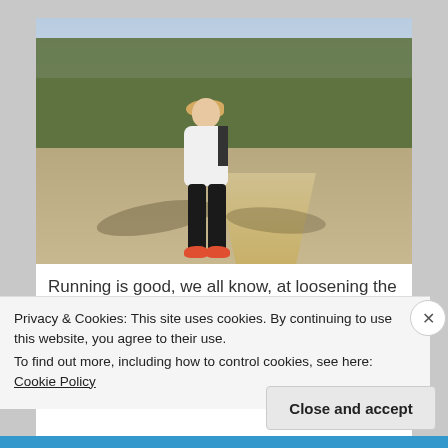[Figure (photo): A blonde woman in a white jacket, black leggings, and orange running shoes stands on a park path surrounded by bare trees.]
Running is good, we all know, at loosening the knots we've tied in the laces of our shoes. (A run
Privacy & Cookies: This site uses cookies. By continuing to use this website, you agree to their use.
To find out more, including how to control cookies, see here: Cookie Policy
Close and accept